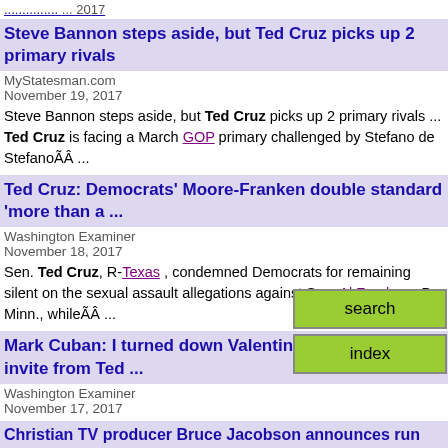Steve Bannon steps aside, but Ted Cruz picks up 2 primary rivals
MyStatesman.com
November 19, 2017
Steve Bannon steps aside, but Ted Cruz picks up 2 primary rivals ... Ted Cruz is facing a March GOP primary challenged by Stefano de StefanoÃÂ ...
Ted Cruz: Democrats' Moore-Franken double standard 'more than a ...
Washington Examiner
November 18, 2017
Sen. Ted Cruz, R-Texas , condemned Democrats for remaining silent on the sexual assault allegations against Sen. Al Franken , D-Minn., whileÃÂ ...
Mark Cuban: I turned down Valentine's Day dinner invite from Ted ...
Washington Examiner
November 17, 2017
Dallas Mavericks owner Mark Cuban (pictured above) says interaction with Sen. Ted Cruz was when he said he would considerÃÂ ...
Christian TV producer Bruce Jacobson announces run